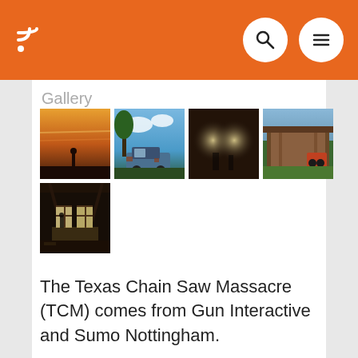RSS icon, Search icon, Menu icon — navigation bar
Gallery
[Figure (photo): Gallery of 5 game screenshots from The Texas Chain Saw Massacre: sunset silhouette, abandoned vehicle in yard, dark interior with light spots, wooden structure with equipment, and dilapidated barn interior with light through windows.]
The Texas Chain Saw Massacre (TCM) comes from Gun Interactive and Sumo Nottingham.